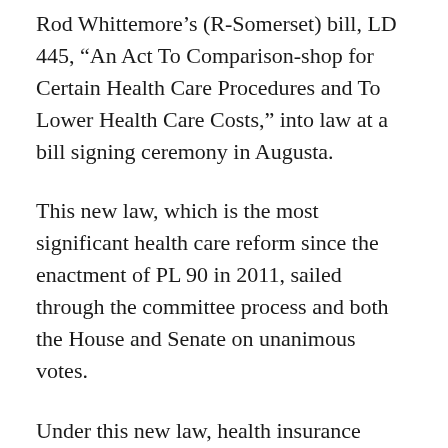Rod Whittemore’s (R-Somerset) bill, LD 445, “An Act To Comparison-shop for Certain Health Care Procedures and To Lower Health Care Costs,” into law at a bill signing ceremony in Augusta.
This new law, which is the most significant health care reform since the enactment of PL 90 in 2011, sailed through the committee process and both the House and Senate on unanimous votes.
Under this new law, health insurance companies will be required to offer health insurance plans in which enrollees are directly incentivized to